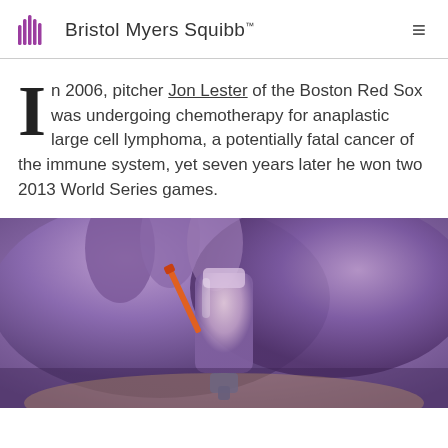Bristol Myers Squibb
In 2006, pitcher Jon Lester of the Boston Red Sox was undergoing chemotherapy for anaplastic large cell lymphoma, a potentially fatal cancer of the immune system, yet seven years later he won two 2013 World Series games.
[Figure (photo): Close-up photo of purple-gloved hands handling a medical vial or test tube with an orange needle/syringe, laboratory setting]